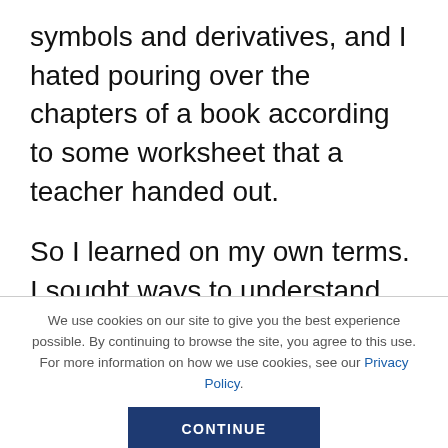symbols and derivatives, and I hated pouring over the chapters of a book according to some worksheet that a teacher handed out.
So I learned on my own terms. I sought ways to understand the difficult concepts in a way that made sense to me, and I liked to read the books liberally, letting the words hit my mind and leave their impressions, unsullied by expectations. But I hardly thought that this mindset would impress these two
We use cookies on our site to give you the best experience possible. By continuing to browse the site, you agree to this use. For more information on how we use cookies, see our Privacy Policy.
CONTINUE